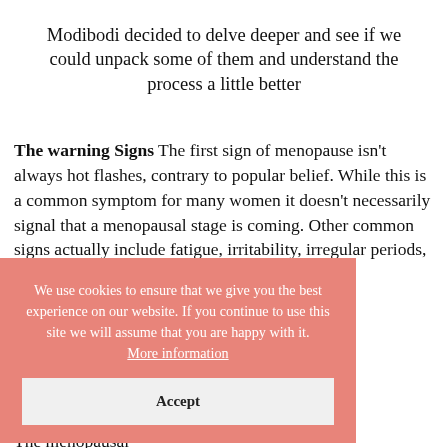Modibodi decided to delve deeper and see if we could unpack some of them and understand the process a little better
The warning Signs The first sign of menopause isn't always hot flashes, contrary to popular belief. While this is a common symptom for many women it doesn't necessarily signal that a menopausal stage is coming. Other common signs actually include fatigue, irritability, irregular periods, weight gain, low libido and cravings.
We use cookies to ensure that we give you the best experience on our website. If you continue to use this site we will assume that you are happy with it. More information
n periods just ain (wouldn't your menstrual ikely to slowly me women they The menopausal transition can easily last 3-5 years and fluctuates